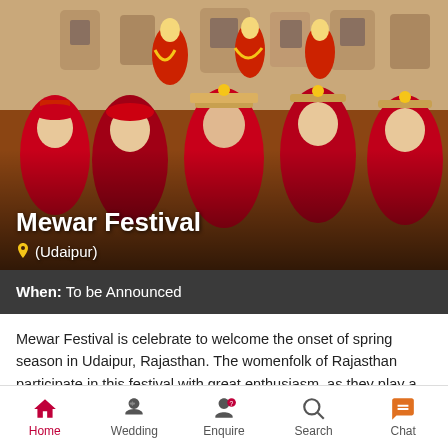[Figure (photo): Women in traditional Rajasthani attire wearing red and yellow colors, carrying decorative items on their heads during the Mewar Festival procession, with ornate haveli buildings in the background.]
Mewar Festival
📍 (Udaipur)
When: To be Announced
Mewar Festival is celebrate to welcome the onset of spring season in Udaipur, Rajasthan. The womenfolk of Rajasthan participate in this festival with great enthusiasm, as they play a primary role in it. During the main ceremony, the women assemble to dress the main image of Isar (Lord Shiva) and Gangaur (Goddess Parvati). After
Home | Wedding | Enquire | Search | Chat